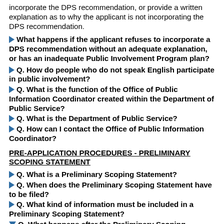incorporate the DPS recommendation, or provide a written explanation as to why the applicant is not incorporating the DPS recommendation.
What happens if the applicant refuses to incorporate a DPS recommendation without an adequate explanation, or has an inadequate Public Involvement Program plan?
Q. How do people who do not speak English participate in public involvement?
Q. What is the function of the Office of Public Information Coordinator created within the Department of Public Service?
Q. What is the Department of Public Service?
Q. How can I contact the Office of Public Information Coordinator?
PRE-APPLICATION PROCEDURES - PRELIMINARY SCOPING STATEMENT
Q. What is a Preliminary Scoping Statement?
Q. When does the Preliminary Scoping Statement have to be filed?
Q. What kind of information must be included in a Preliminary Scoping Statement?
Q. What happens after the Preliminary Scoping Statement is filed?